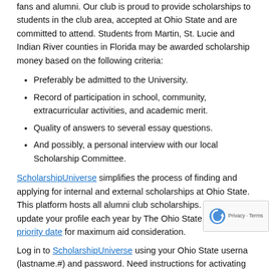fans and alumni. Our club is proud to provide scholarships to students in the club area, accepted at Ohio State and are committed to attend. Students from Martin, St. Lucie and Indian River counties in Florida may be awarded scholarship money based on the following criteria:
Preferably be admitted to the University.
Record of participation in school, community, extracurricular activities, and academic merit.
Quality of answers to several essay questions.
And possibly, a personal interview with our local Scholarship Committee.
ScholarshipUniverse simplifies the process of finding and applying for internal and external scholarships at Ohio State. This platform hosts all alumni club scholarships. Apply and/or update your profile each year by The Ohio State University priority date for maximum aid consideration.
Log in to ScholarshipUniverse using your Ohio State username (lastname.#) and password. Need instructions for activating your